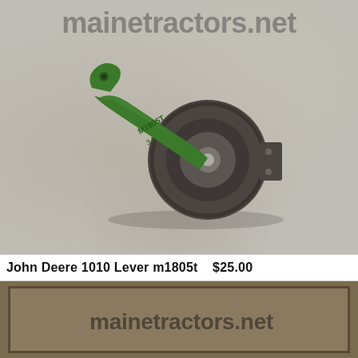[Figure (photo): Photo of a John Deere 1010 lever part m1805t — green cast iron arm with a circular disk/pulley end, placed on a worn concrete/marbled surface. The mainetractors.net watermark is visible at the top.]
John Deere 1010 Lever m1805t   $25.00
[Figure (photo): Partial photo showing the bottom portion with a wooden frame/box on a brown surface, with the mainetractors.net watermark visible.]